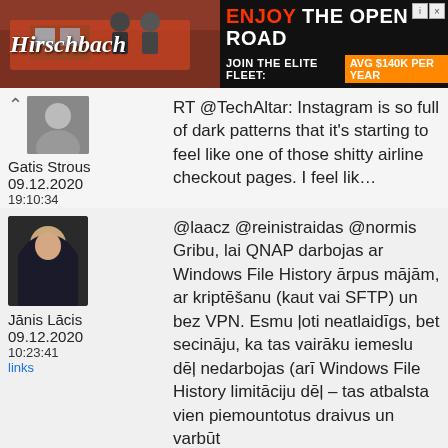[Figure (photo): Hirschbach advertisement banner: truck company ad with logo on dark background, text 'ENJOY THE OPEN ROAD' and 'JOIN THE ELITE FLEET: AVG $140K PER YEAR']
Gatis Strous 09.12.2020 19:10:34 links — RT @TechAltar: Instagram is so full of dark patterns that it's starting to feel like one of those shitty airline checkout pages. I feel lik…
Jānis Lācis 09.12.2020 10:23:41 links — @laacz @reinistraidas @normis Gribu, lai QNAP darbojas ar Windows File History ārpus mājām, ar kriptēšanu (kaut vai SFTP) un bez VPN. Esmu ļoti neatlaidīgs, bet secinā ju, ka tas vairāku iemeslu dēļ nedarbojas (arī Windows File History limitāciju dēļ – tas atbalsta vien piemountotus draivus un varbūt